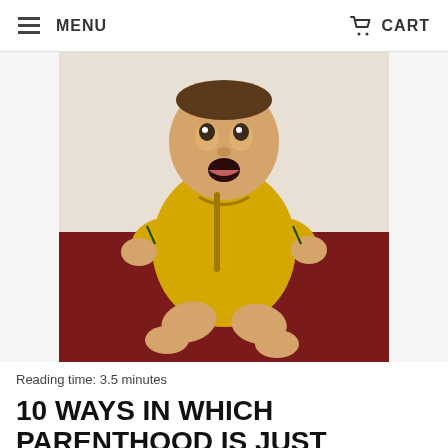MENU   CART
[Figure (photo): A baby wearing a yellow Australian Wallabies rugby onesie, sitting with mouth open, on a dark red surface with a white background behind them.]
Reading time: 3.5 minutes
10 WAYS IN WHICH PARENTHOOD IS JUST